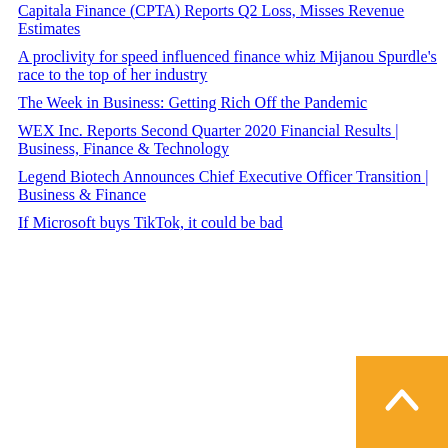Capitala Finance (CPTA) Reports Q2 Loss, Misses Revenue Estimates
A proclivity for speed influenced finance whiz Mijanou Spurdle's race to the top of her industry
The Week in Business: Getting Rich Off the Pandemic
WEX Inc. Reports Second Quarter 2020 Financial Results | Business, Finance & Technology
Legend Biotech Announces Chief Executive Officer Transition | Business & Finance
If Microsoft buys TikTok, it could be bad